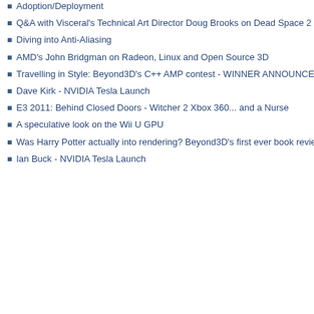Adoption/Deployment
Q&A with Visceral's Technical Art Director Doug Brooks on Dead Space 2
Diving into Anti-Aliasing
AMD's John Bridgman on Radeon, Linux and Open Source 3D
Travelling in Style: Beyond3D's C++ AMP contest - WINNER ANNOUNCED
Dave Kirk - NVIDIA Tesla Launch
E3 2011: Behind Closed Doors - Witcher 2 Xbox 360... and a Nurse
A speculative look on the Wii U GPU
Was Harry Potter actually into rendering? Beyond3D's first ever book review
Ian Buck - NVIDIA Tesla Launch
Diving into Anti-Aliasing
24th Jan 2014 @ 10:04:00 - written by Alex Voicu
Read news item | More in this category | Comments (24)
ATI shoots a Bolt through its GPU compute stack
4th Dec 2012 @ 12:00:00 - written by Alex Voicu
In an attempt to rekindle embers long thought extinguished, ATI releases some shockingly useful tools.
Read news item | More in this category | Comments (4)
David K... again p... answers... architect... Head on... follow th... death!
Read li... t...
AMD Code...
3rd Dec 2...
written by...
AMD ad... heteroge... heteroge... landsca...
Read n... this cat...
Anal... Bri...